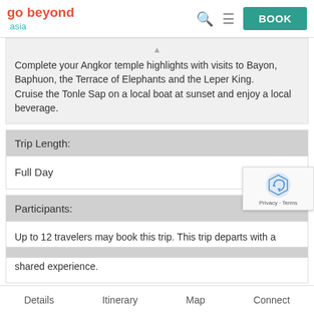go beyond asia — BOOK
Complete your Angkor temple highlights with visits to Bayon, Baphuon, the Terrace of Elephants and the Leper King.
Cruise the Tonle Sap on a local boat at sunset and enjoy a local beverage.
Trip Length:
Full Day
Participants:
Up to 12 travelers may book this trip. This trip departs with a minimum of 1 traveler. One or more components of this trip are a shared experience.
Details    Itinerary    Map    Connect